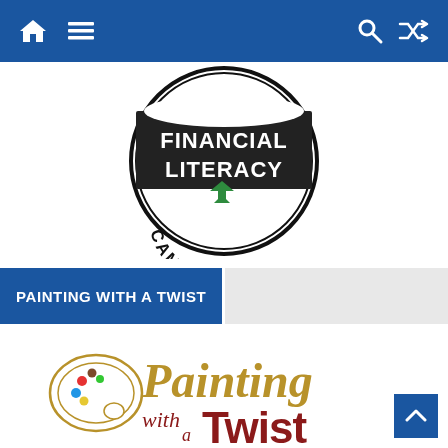Navigation bar with home, menu, search, and shuffle icons
[Figure (logo): Financial Literacy Campaign circular logo with black banner reading FINANCIAL LITERACY and arc text reading CAMPAIGN with green arrow icon]
PAINTING WITH A TWIST
[Figure (logo): Painting with a Twist logo: script gold text 'Painting with a Twist' and paint palette icon, with dark red 'with a Twist' portion]